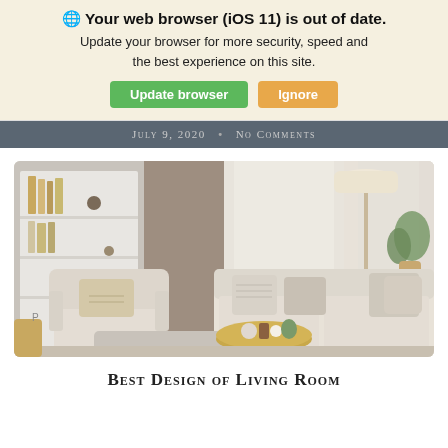🌐 Your web browser (iOS 11) is out of date. Update your browser for more security, speed and the best experience on this site.
Update browser
Ignore
July 9, 2020   No Comments
[Figure (photo): Living room interior with cream sofa, armchair, white bookshelves, floor lamp, and gold round coffee table with plants and candle on a wood tray]
Best Design of Living Room